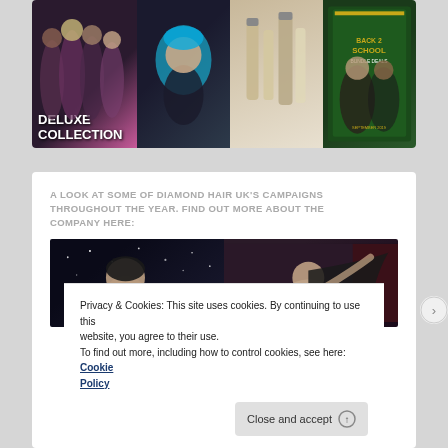[Figure (photo): Collage of four images: a group of women with 'Deluxe Collection' text overlay, a woman with blue hair, hair product bottles, and a Back 2 School promotional poster]
A LOOK AT SOME OF DIAMOND HAIR UK'S CAMPAIGNS THROUGHOUT THE YEAR. FIND OUT MORE ABOUT THE COMPANY HERE:
[Figure (photo): Two fashion/hair campaign photos side by side: left shows a woman against a starry dark background, right shows a woman with long flowing hair in a dramatic pose]
Privacy & Cookies: This site uses cookies. By continuing to use this website, you agree to their use.
To find out more, including how to control cookies, see here: Cookie Policy